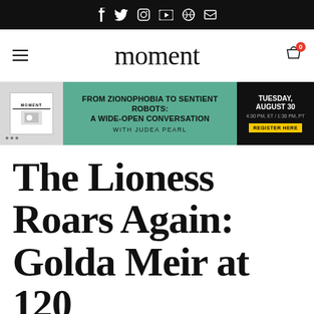Social media icons: f (Facebook), t (Twitter), Instagram, YouTube, Pinterest, LinkedIn
moment
[Figure (infographic): Banner advertisement: FROM ZIONOPHOBIA TO SENTIENT ROBOTS: A WIDE-OPEN CONVERSATION WITH JUDEA PEARL — TUESDAY, AUGUST 30, 4:30 PM, ET / 1:30 PM, PT — REGISTER HERE]
The Lioness Roars Again: Golda Meir at 120
Author Interview | Francine Klagsbrun